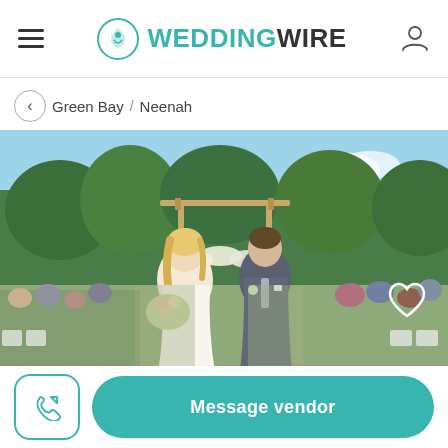[Figure (logo): WeddingWire logo with teal circular icon and text 'WEDDINGWIRE' in teal/dark]
Green Bay / Neenah
[Figure (photo): Outdoor wedding ceremony photo: bride with blonde hair holding flowers and groom in gray suit walking down aisle, guests seated in background, wooden pergola arch with flowers, green trees and blue sky]
Message vendor